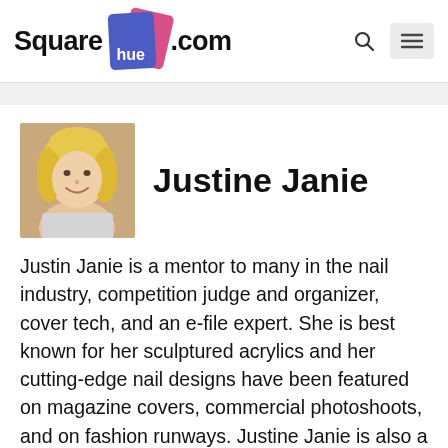[Figure (logo): Squarehue.com logo with stacked colored cards (blue and pink) behind the word 'hue' in white on blue badge, flanked by 'Square' and '.com' in bold black]
[Figure (photo): Portrait photo of Justine Janie, a blonde woman smiling]
Justine Janie
Justin Janie is a mentor to many in the nail industry, competition judge and organizer, cover tech, and an e-file expert. She is best known for her sculptured acrylics and her cutting-edge nail designs have been featured on magazine covers, commercial photoshoots, and on fashion runways. Justine Janie is also a celebrity manicurist and worked for several nail manufacturers. She